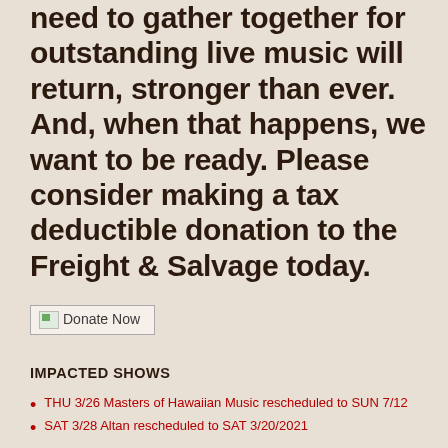need to gather together for outstanding live music will return, stronger than ever. And, when that happens, we want to be ready. Please consider making a tax deductible donation to the Freight & Salvage today.
[Figure (other): Donate Now button/image link]
IMPACTED SHOWS
THU 3/26 Masters of Hawaiian Music rescheduled to SUN 7/12
SAT 3/28 Altan rescheduled to SAT 3/20/2021